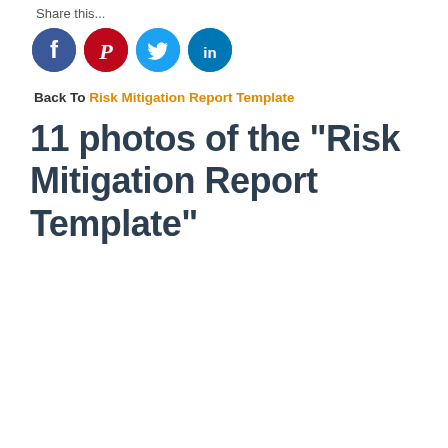Share this...
[Figure (illustration): Four social media share icons (Facebook blue circle with f, Pinterest red circle with P, Twitter cyan circle with bird, LinkedIn teal circle with in)]
Back To Risk Mitigation Report Template
11 photos of the "Risk Mitigation Report Template"